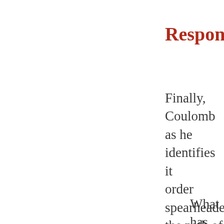Respondin
Finally, Coulomb as he identifies it order spearheaded the path of a mor writes:
What has cha this Earth has regardless of
Their family